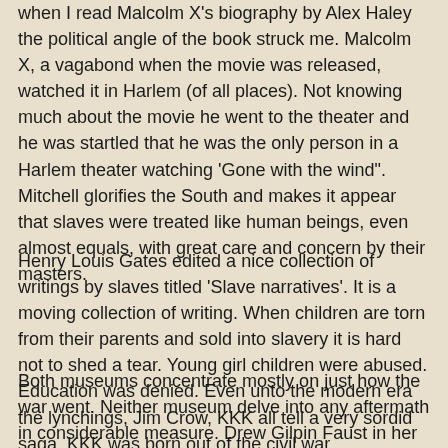when I read Malcolm X's biography by Alex Haley the political angle of the book struck me. Malcolm X, a vagabond when the movie was released, watched it in Harlem (of all places). Not knowing much about the movie he went to the theater and he was startled that he was the only person in a Harlem theater watching 'Gone with the wind". Mitchell glorifies the South and makes it appear that slaves were treated like human beings, even almost equals, with great care and concern by their masters.
Henry Louis Gates edited a nice collection of writings by slaves titled 'Slave narratives'. It is a moving collection of writing. When children are torn from their parents and sold into slavery it is hard not to shed a tear. Young girl children were abused. Education was denied. Even unto the modern era the lynchings, Jim Crow, KKK all tell a very sordid saga. KKK was born out of the civil war.
Both museums concentrate mostly on just how the war went. Neither museum delve into any aftermath in considerable measure. Drew Gilpin Faust in her book would focus on how the war completely remade gender relationships and redefined role of women in society. The museums barely